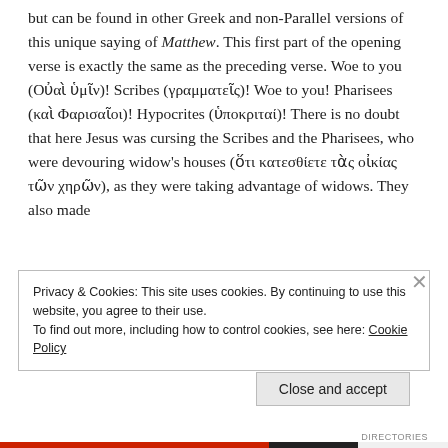but can be found in other Greek and non-Parallel versions of this unique saying of Matthew. This first part of the opening verse is exactly the same as the preceding verse. Woe to you (Οὐαὶ ὑμῖν)! Scribes (γραμματεῖς)! Woe to you! Pharisees (καὶ Φαρισαῖοι)! Hypocrites (ὑποκριταί)! There is no doubt that here Jesus was cursing the Scribes and the Pharisees, who were devouring widow's houses (ὅτι κατεσθίετε τὰς οἰκίας τῶν χηρῶν), as they were taking advantage of widows. They also made
Privacy & Cookies: This site uses cookies. By continuing to use this website, you agree to their use.
To find out more, including how to control cookies, see here: Cookie Policy
Close and accept
DIRECTORIES